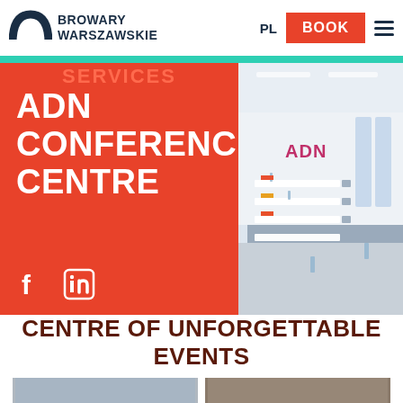BROWARY WARSZAWSKIE | PL | BOOK
SERVICES
ADN CONFERENCE CENTRE
[Figure (photo): Interior of ADN Conference Centre showing a bright conference room with rows of tables set in classroom style, ADN logo on the wall, floor-to-ceiling windows.]
f in (Facebook and LinkedIn social icons)
CENTRE OF UNFORGETTABLE EVENTS
[Figure (photo): Partial view of a conference or event space, grey tones.]
[Figure (photo): Partial view of industrial or event space interior.]